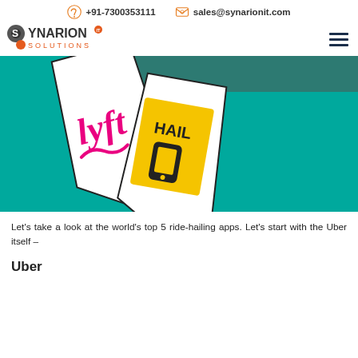+91-7300353111   sales@synarionit.com
[Figure (logo): Synarion IT Solutions logo with hamburger menu icon]
[Figure (illustration): Ride-hailing app logos (Lyft and Hailo) on a teal background, depicted as cards/ties]
Let's take a look at the world's top 5 ride-hailing apps. Let's start with the Uber itself –
Uber